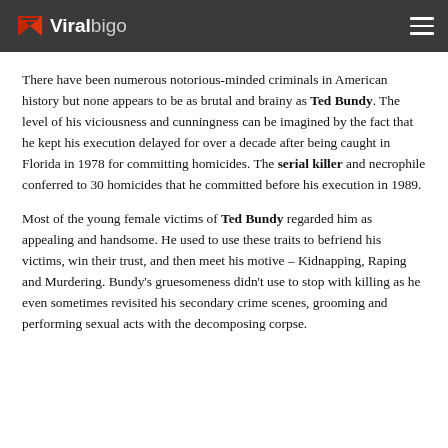Viralbigo
There have been numerous notorious-minded criminals in American history but none appears to be as brutal and brainy as Ted Bundy. The level of his viciousness and cunningness can be imagined by the fact that he kept his execution delayed for over a decade after being caught in Florida in 1978 for committing homicides. The serial killer and necrophile conferred to 30 homicides that he committed before his execution in 1989.
Most of the young female victims of Ted Bundy regarded him as appealing and handsome. He used to use these traits to befriend his victims, win their trust, and then meet his motive – Kidnapping, Raping and Murdering. Bundy's gruesomeness didn't use to stop with killing as he even sometimes revisited his secondary crime scenes, grooming and performing sexual acts with the decomposing corpse.